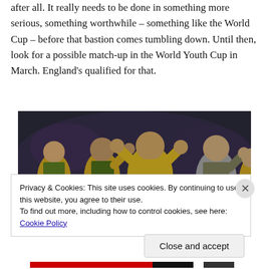after all. It really needs to be done in something more serious, something worthwhile – something like the World Cup – before that bastion comes tumbling down. Until then, look for a possible match-up in the World Youth Cup in March. England's qualified for that.
[Figure (photo): Soccer players in yellow and green jerseys waving to crowd, with a goalkeeper in a grey jersey numbered 1 on the right.]
Privacy & Cookies: This site uses cookies. By continuing to use this website, you agree to their use.
To find out more, including how to control cookies, see here: Cookie Policy
Close and accept